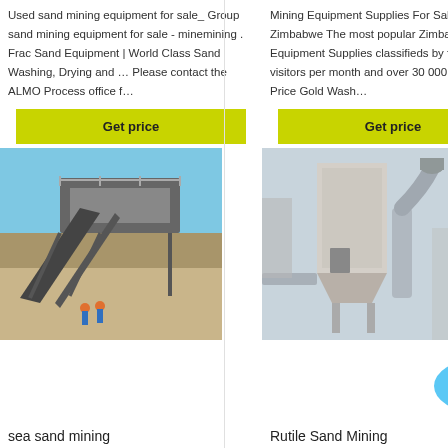Used sand mining equipment for sale_ Group sand mining equipment for sale - minemining . Frac Sand Equipment | World Class Sand Washing, Drying and … Please contact the ALMO Process office f…
Mining Equipment Supplies For Sale In Zimbabwe The most popular Zimbabwe Mining Equipment Supplies classifieds by far. 500 000 visitors per month and over 30 000 adverts. Get Price Gold Wash…
Get price
Get price
[Figure (photo): Industrial sand mining conveyor and screening equipment on an outdoor site with workers in blue coveralls]
[Figure (photo): Industrial dust collection / filtration tower equipment at a mining or processing plant]
sea sand mining
Rutile Sand Mining